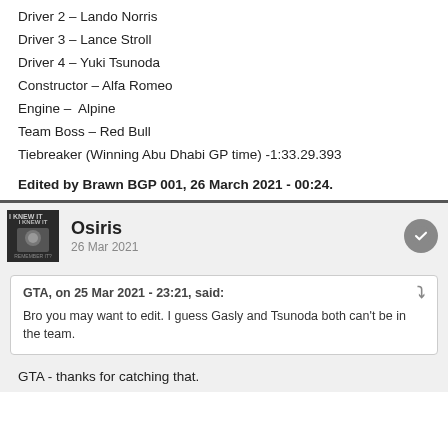Driver 2 – Lando Norris
Driver 3 – Lance Stroll
Driver 4 – Yuki Tsunoda
Constructor – Alfa Romeo
Engine –  Alpine
Team Boss – Red Bull
Tiebreaker (Winning Abu Dhabi GP time) -1:33.29.393
Edited by Brawn BGP 001, 26 March 2021 - 00:24.
Osiris
26 Mar 2021
GTA, on 25 Mar 2021 - 23:21, said:
Bro you may want to edit. I guess Gasly and Tsunoda both can't be in the team.
GTA - thanks for catching that.